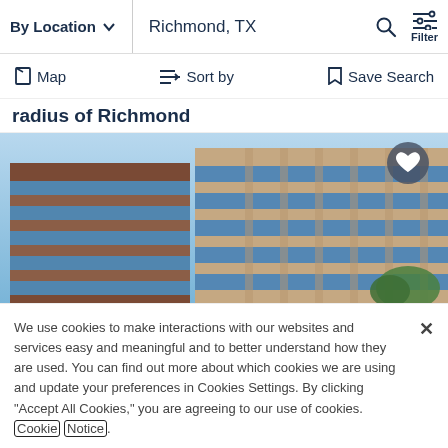By Location  ∨   Richmond, TX   Filter
Map   Sort by   Save Search
radius of Richmond
[Figure (photo): Exterior photo of a multi-story office building with blue glass windows and brick facade against a blue sky, with a heart/favorite icon button in the top right corner]
We use cookies to make interactions with our websites and services easy and meaningful and to better understand how they are used. You can find out more about which cookies we are using and update your preferences in Cookies Settings. By clicking "Accept All Cookies," you are agreeing to our use of cookies. Cookie Notice.
Cookies Settings
Accept All Cookies